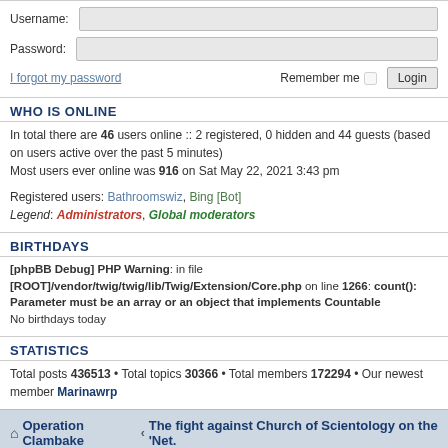Username:
Password:
I forgot my password
Remember me  Login
WHO IS ONLINE
In total there are 46 users online :: 2 registered, 0 hidden and 44 guests (based on users active over the past 5 minutes)
Most users ever online was 916 on Sat May 22, 2021 3:43 pm
Registered users: Bathroomswiz, Bing [Bot]
Legend: Administrators, Global moderators
BIRTHDAYS
[phpBB Debug] PHP Warning: in file [ROOT]/vendor/twig/twig/lib/Twig/Extension/Core.php on line 1266: count(): Parameter must be an array or an object that implements Countable
No birthdays today
STATISTICS
Total posts 436513 • Total topics 30366 • Total members 172294 • Our newest member Marinawrp
Operation Clambake  The fight against Church of Scientology on the 'Net.
Powered by phpBB® Forum Software © phpBB Limited